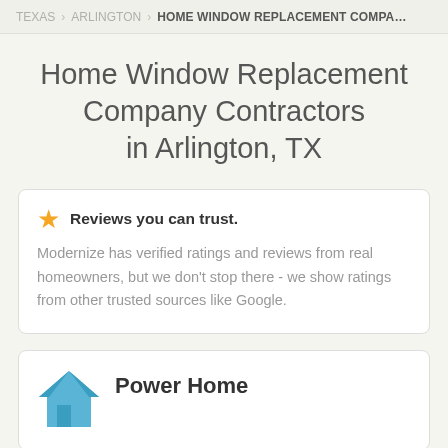TEXAS > ARLINGTON > HOME WINDOW REPLACEMENT COMPA…
Home Window Replacement Company Contractors in Arlington, TX
Reviews you can trust.
Modernize has verified ratings and reviews from real homeowners, but we don't stop there - we show ratings from other trusted sources like Google.
Power Home